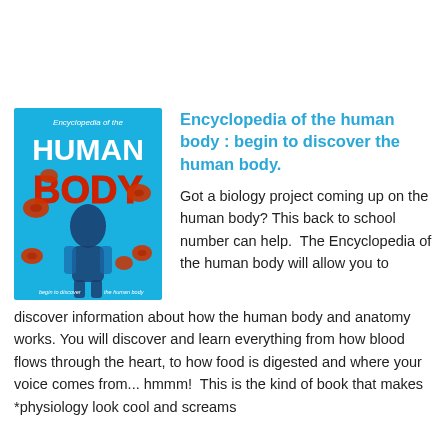[Figure (illustration): Book cover of 'Encyclopedia of the Human Body' showing a blue background with a human figure X-ray style and red blood cells, with bold white and red text reading 'HUMAN BODY']
Encyclopedia of the human body : begin to discover the human body.
Got a biology project coming up on the human body? This back to school number can help.  The Encyclopedia of the human body will allow you to discover information about how the human body and anatomy works. You will discover and learn everything from how blood flows through the heart, to how food is digested and where your voice comes from... hmmm!  This is the kind of book that makes *physiology look cool and screams